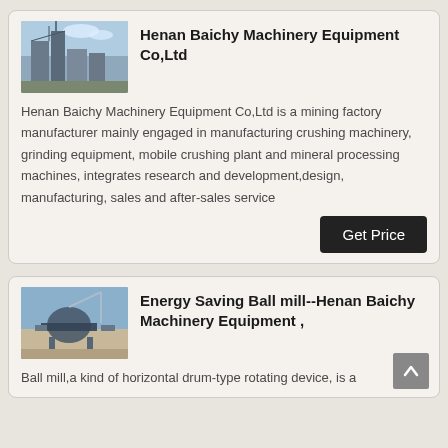[Figure (photo): Industrial facility or mining plant building]
Henan Baichy Machinery Equipment Co,Ltd
Henan Baichy Machinery Equipment Co,Ltd is a mining factory manufacturer mainly engaged in manufacturing crushing machinery, grinding equipment, mobile crushing plant and mineral processing machines, integrates research and development,design, manufacturing, sales and after-sales service
[Figure (photo): Ball mill or grinding equipment machinery]
Energy Saving Ball mill--Henan Baichy Machinery Equipment ,
Ball mill,a kind of horizontal drum-type rotating device, is a